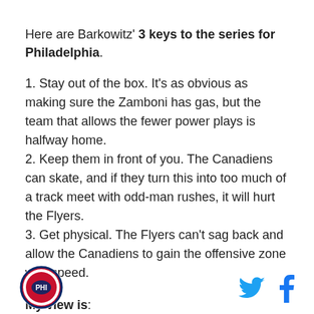Here are Barkowitz' 3 keys to the series for Philadelphia.
1. Stay out of the box. It's as obvious as making sure the Zamboni has gas, but the team that allows the fewer power plays is halfway home.
2. Keep them in front of you. The Canadiens can skate, and if they turn this into too much of a track meet with odd-man rushes, it will hurt the Flyers.
3. Get physical. The Flyers can't sag back and allow the Canadiens to gain the offensive zone with speed.
My view is:
[Figure (logo): Circular logo with sports team emblem in red and blue]
[Figure (logo): Twitter bird icon in blue and Facebook f icon in blue]